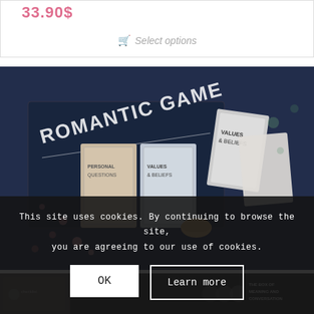33.90$
Select options
[Figure (photo): Overhead photo of a 'Romantic Game' card game box with playing cards labeled 'Values & Beliefs' scattered around it on a dark surface with confetti]
This site uses cookies. By continuing to browse the site, you are agreeing to our use of cookies.
OK
Learn more
[Figure (photo): Bottom strip of another product photo showing dark background with text and items]